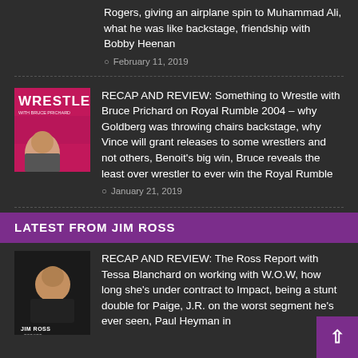Rogers, giving an airplane spin to Muhammad Ali, what he was like backstage, friendship with Bobby Heenan
February 11, 2019
RECAP AND REVIEW: Something to Wrestle with Bruce Prichard on Royal Rumble 2004 – why Goldberg was throwing chairs backstage, why Vince will grant releases to some wrestlers and not others, Benoit's big win, Bruce reveals the least over wrestler to ever win the Royal Rumble
January 21, 2019
LATEST FROM JIM ROSS
RECAP AND REVIEW: The Ross Report with Tessa Blanchard on working with W.O.W, how long she's under contract to Impact, being a stunt double for Paige, J.R. on the worst segment he's ever seen, Paul Heyman in